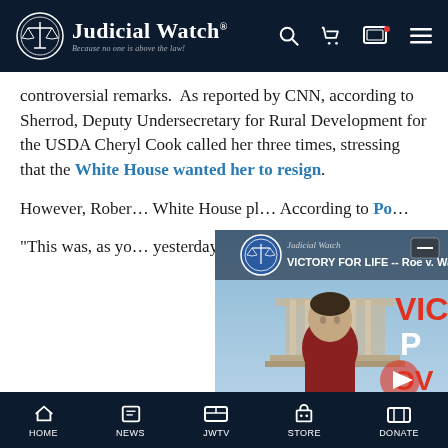Judicial Watch — Because no one is above the law!
controversial remarks.  As reported by CNN, according to Sherrod, Deputy Undersecretary for Rural Development for the USDA Cheryl Cook called her three times, stressing that the White House wanted her to resign.
However, Rober... White House pl... According to Po...
“This was, as yo... yesterday, a deci...
[Figure (screenshot): Judicial Watch YouTube video thumbnail showing VICTORY FOR LIFE -- Roe v. Wa... with a man in a red shirt in front of the Supreme Court building]
HOME  NEWS  JWTV  STORE  DONATE